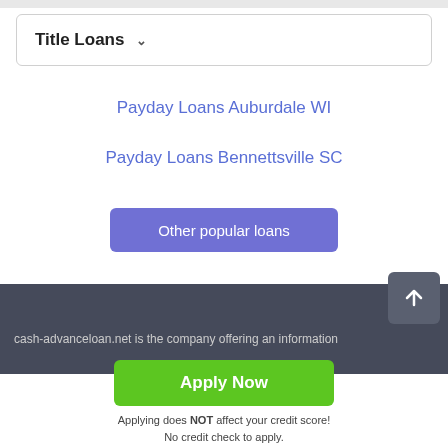Title Loans
Payday Loans Auburdale WI
Payday Loans Bennettsville SC
Other popular loans
cash-advanceloan.net is the company offering an information
Apply Now
Applying does NOT affect your credit score! No credit check to apply.